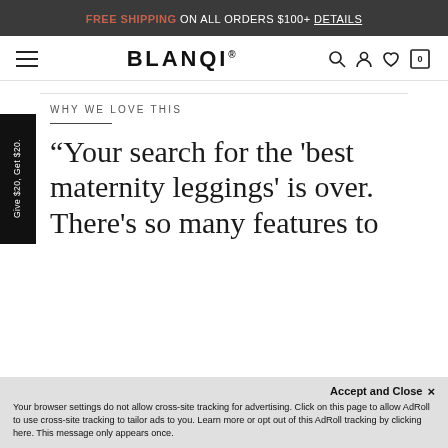FREE SHIPPING ON ALL ORDERS $100+ DETAILS
[Figure (logo): BLANQI brand logo with navigation icons: hamburger menu, search, user, heart, cart with 0]
WHY WE LOVE THIS
“Your search for the ‘best maternity leggings’ is over. There’s so many features to
Give $20, Get $20.
Accept and Close × Your browser settings do not allow cross-site tracking for advertising. Click on this page to allow AdRoll to use cross-site tracking to tailor ads to you. Learn more or opt out of this AdRoll tracking by clicking here. This message only appears once.